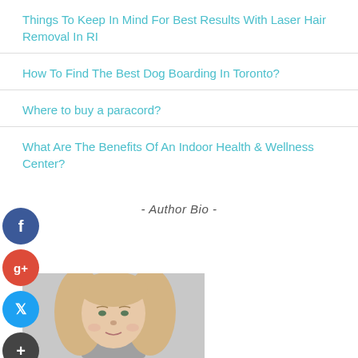Things To Keep In Mind For Best Results With Laser Hair Removal In RI
How To Find The Best Dog Boarding In Toronto?
Where to buy a paracord?
What Are The Benefits Of An Indoor Health & Wellness Center?
- Author Bio -
[Figure (photo): Author photo: woman with long blonde hair, smiling, light background]